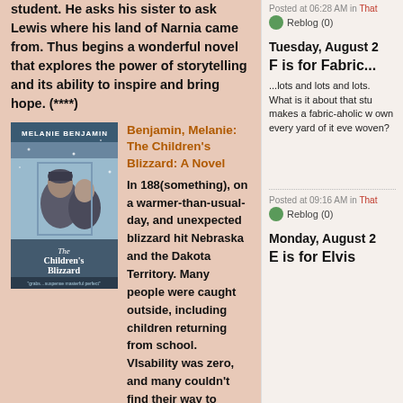student. He asks his sister to ask Lewis where his land of Narnia came from. Thus begins a wonderful novel that explores the power of storytelling and its ability to inspire and bring hope. (****)
[Figure (photo): Book cover of 'The Children's Blizzard' by Melanie Benjamin, showing two children in winter]
Benjamin, Melanie: The Children's Blizzard: A Novel
In 188(something), on a warmer-than-usual-day, and unexpected blizzard hit Nebraska and the Dakota Territory. Many people were caught outside, including children returning from school. VIsability was zero, and many couldn't find their way to shelter. This fiction account of a real-life tragedy centers on two teachers and their students, many of whom didn't make it. It's a hard-to-put-down book, and one that will break your heart. (*****)
Posted at 06:28 AM in That
Reblog (0)
Tuesday, August 2
F is for Fabric...
...lots and lots and lots. What is it about that stu makes a fabric-aholic w own every yard of it eve woven?
Posted at 09:16 AM in That
Reblog (0)
Monday, August 2
E is for Elvis